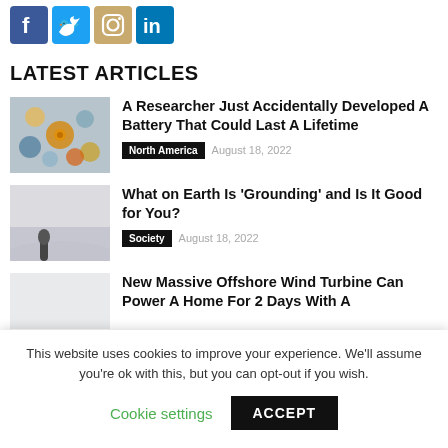[Figure (illustration): Social media icons: Facebook (blue), Twitter (light blue), Instagram (tan/orange), LinkedIn (blue)]
LATEST ARTICLES
[Figure (photo): Close-up photo of various batteries and battery cells]
A Researcher Just Accidentally Developed A Battery That Could Last A Lifetime
North America   August 18, 2022
[Figure (photo): Person sitting on a rock in misty/foggy landscape]
What on Earth Is 'Grounding' and Is It Good for You?
Society   August 18, 2022
[Figure (photo): Partially visible image for wind turbine article]
New Massive Offshore Wind Turbine Can Power A Home For 2 Days With A
This website uses cookies to improve your experience. We'll assume you're ok with this, but you can opt-out if you wish.